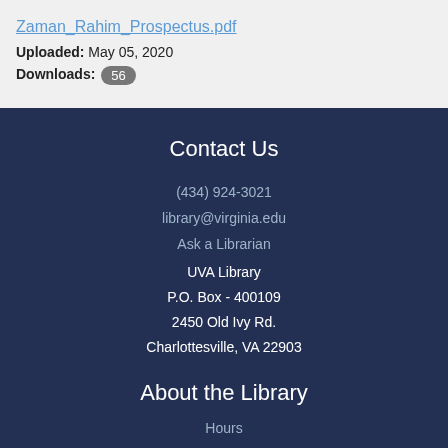Zaman_Rahim_Prospectus.pdf
Uploaded: May 05, 2020
Downloads: 56
Contact Us
(434) 924-3021
library@virginia.edu
Ask a Librarian
UVA Library
P.O. Box - 400109
2450 Old Ivy Rd.
Charlottesville, VA 22903
About the Library
Hours